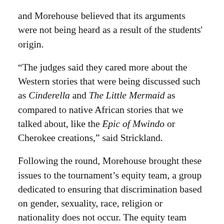and Morehouse believed that its arguments were not being heard as a result of the students' origin.
“The judges said they cared more about the Western stories that were being discussed such as Cinderella and The Little Mermaid as compared to native African stories that we talked about, like the Epic of Mwindo or Cherokee creations,” said Strickland.
Following the round, Morehouse brought these issues to the tournament’s equity team, a group dedicated to ensuring that discrimination based on gender, sexuality, race, religion or nationality does not occur. The equity team promised to release a statement addressing the issue before the next round, but failed to do so.
Newby said it was important for the equity team to address its concerns in a timely fashion to ensure that